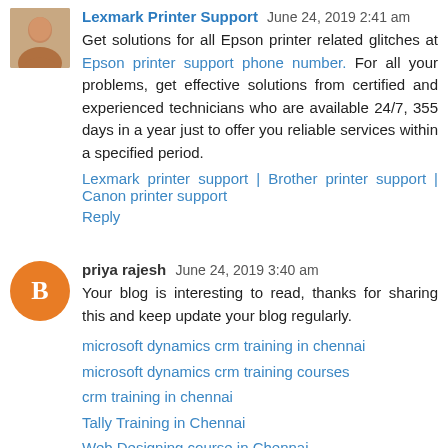Lexmark Printer Support June 24, 2019 2:41 am
Get solutions for all Epson printer related glitches at Epson printer support phone number. For all your problems, get effective solutions from certified and experienced technicians who are available 24/7, 355 days in a year just to offer you reliable services within a specified period.
Lexmark printer support | Brother printer support | Canon printer support
Reply
priya rajesh June 24, 2019 3:40 am
Your blog is interesting to read, thanks for sharing this and keep update your blog regularly.
microsoft dynamics crm training in chennai
microsoft dynamics crm training courses
crm training in chennai
Tally Training in Chennai
Web Designing course in Chennai
ui ux design course in Chennai